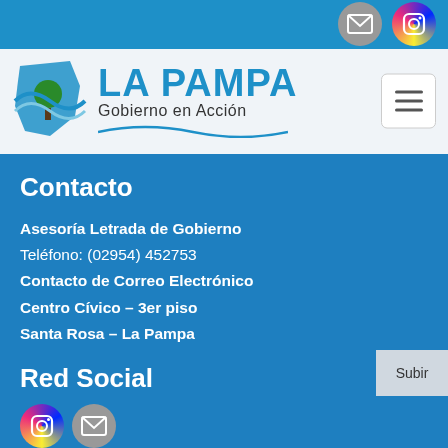[Figure (logo): La Pampa Gobierno en Acción logo with blue map shape and tree, plus email and Instagram icons in top bar and hamburger menu button]
Contacto
Asesoría Letrada de Gobierno
Teléfono: (02954) 452753
Contacto de Correo Electrónico
Centro Cívico – 3er piso
Santa Rosa – La Pampa
Red Social
[Figure (logo): Instagram and email social media icons at bottom]